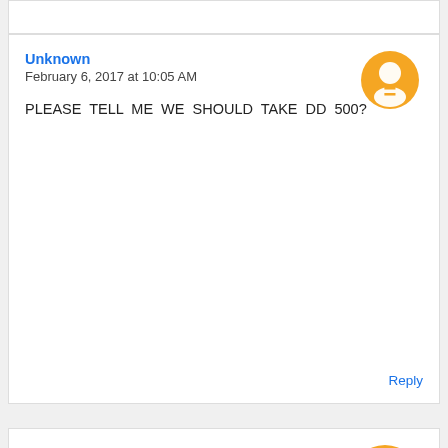Unknown
February 6, 2017 at 10:05 AM
PLEASE TELL ME WE SHOULD TAKE DD 500?
Reply
Unknown
January 27, 2017 at 12:31 PM
I have registered my application but i didnt get any notification through mail or mobile as i have registered.. when i tried to re register again it shows data is already available..what i need to do